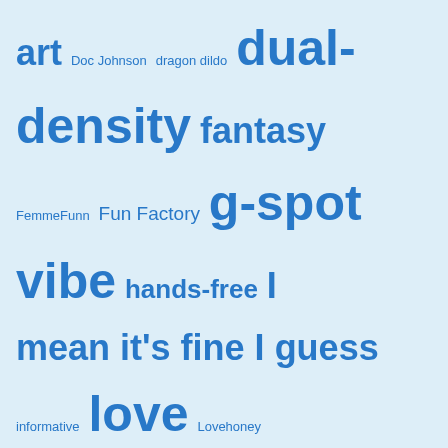[Figure (infographic): A tag cloud with various terms in different sizes and shades of blue on a light blue background, including: art, Doc Johnson, dragon dildo, dual-density, fantasy, FemmeFunn, Fun Factory, g-spot vibe, hands-free, I mean it's fine I guess, informative, love, Lovehoney, Lovense, NS Novelties, prostate stim, rabbit, remote control, Satisfyer, self-thrusting, semirealistic, sexploration, so many purple cocks, SquarePegToys, squish, suction cup, Tantus, texture, Uberrime Dildos, vibrating, Vixen Creations, wands, We-Vibe]
© Phallophile Reviews, 2017–2022. Body-safe sex toy reviews only! Please don't pirate my content: Unauthorized use and/or duplication of this material without express and written permission from this site's author is strictly prohibited. You may quote my material *IF* you give full and clear credit to